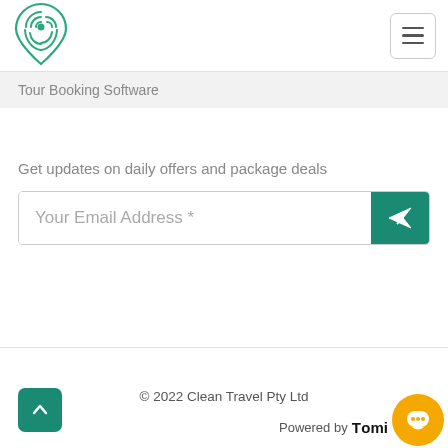[Figure (logo): Green fingerprint/map-pin logo for Clean Travel]
[Figure (other): Hamburger menu button (three horizontal lines) in a rounded rectangle border]
Tour Booking Software
Get updates on daily offers and package deals
[Figure (other): Email input field with placeholder 'Your Email Address *' and a teal send button with paper plane icon]
© 2022 Clean Travel Pty Ltd
[Figure (other): Back to top button (green rounded square with upward chevron arrow)]
Powered by Tomi
[Figure (other): Yellow circular chat support bubble icon]